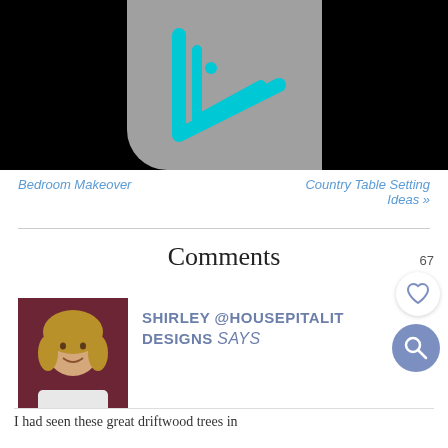[Figure (logo): Gray rounded-corner box with cyan play-button/triangle and letter i logo on black background]
Bedroom Makeover
Country Table Setting Ideas »
Comments
SHIRLEY @HOUSEPITALITY DESIGNS says
[Figure (photo): Woman with shoulder-length blonde hair smiling, wearing white top, dark reddish background]
I had seen these great driftwood trees in